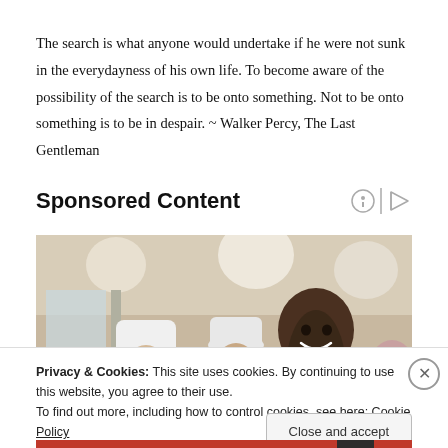The search is what anyone would undertake if he were not sunk in the everydayness of his own life. To become aware of the possibility of the search is to be onto something. Not to be onto something is to be in despair. ~ Walker Percy, The Last Gentleman
Sponsored Content
[Figure (photo): Group of people including chefs in white hats and toques in a kitchen/restaurant setting, smiling at camera]
Privacy & Cookies: This site uses cookies. By continuing to use this website, you agree to their use.
To find out more, including how to control cookies, see here: Cookie Policy
Close and accept